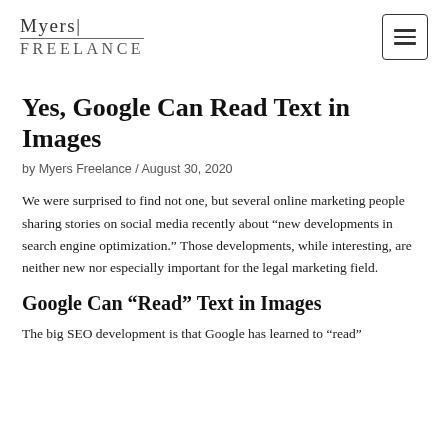Myers Freelance
Yes, Google Can Read Text in Images
by Myers Freelance / August 30, 2020
We were surprised to find not one, but several online marketing people sharing stories on social media recently about “new developments in search engine optimization.” Those developments, while interesting, are neither new nor especially important for the legal marketing field.
Google Can “Read” Text in Images
The big SEO development is that Google has learned to “read”